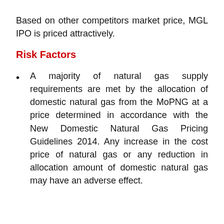Based on other competitors market price, MGL IPO is priced attractively.
Risk Factors
A majority of natural gas supply requirements are met by the allocation of domestic natural gas from the MoPNG at a price determined in accordance with the New Domestic Natural Gas Pricing Guidelines 2014. Any increase in the cost price of natural gas or any reduction in allocation amount of domestic natural gas may have an adverse effect.